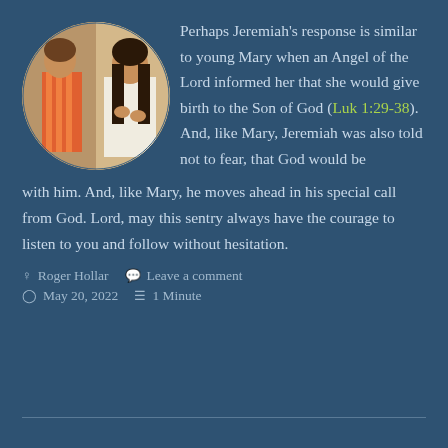[Figure (photo): Circular cropped image showing two women side by side — one in a striped orange dress, one in a white dress with long dark hair — appearing to be illustrations or paintings of biblical figures.]
Perhaps Jeremiah’s response is similar to young Mary when an Angel of the Lord informed her that she would give birth to the Son of God (Luk 1:29-38). And, like Mary, Jeremiah was also told not to fear, that God would be with him. And, like Mary, he moves ahead in his special call from God. Lord, may this sentry always have the courage to listen to you and follow without hesitation.
Roger Hollar   Leave a comment
May 20, 2022   1 Minute